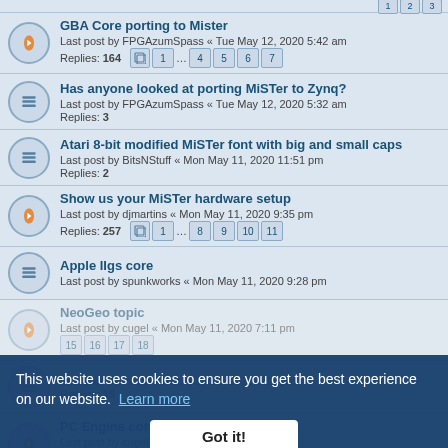GBA Core porting to Mister — Last post by FPGAzumSpass « Tue May 12, 2020 5:42 am — Replies: 164 — Pages: 1 ... 4 5 6 7
Has anyone looked at porting MiSTer to Zynq? — Last post by FPGAzumSpass « Tue May 12, 2020 5:32 am — Replies: 3
Atari 8-bit modified MiSTer font with big and small caps — Last post by BitsNStuff « Mon May 11, 2020 11:51 pm — Replies: 2
Show us your MiSTer hardware setup — Last post by djmartins « Mon May 11, 2020 9:35 pm — Replies: 257 — Pages: 1 ... 8 9 10 11
Apple IIgs core — Last post by spunkworks « Mon May 11, 2020 9:28 pm
NeoGeo topic — Last post by cugel « Mon May 11, 2020 7:11 pm — Pages: 15 16 17 18
(partially visible) — Last post by made « Mon May 11, 2020 6:10 pm — Replies: 15
PC Engine core — Last post by cugel « Mon May 11, 2020 5:06 pm — Replies: 456 — Pages: 1 ... 16 17 18 19
This website uses cookies to ensure you get the best experience on our website. Learn more
Got it!